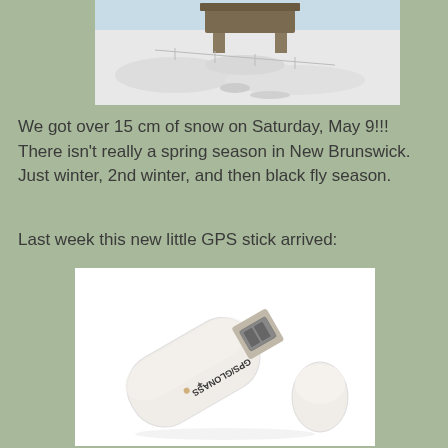[Figure (photo): Aerial or outdoor photo of snow-covered ground with some equipment or structure visible, taken Saturday May 9 with over 15 cm of snow.]
We got over 15 cm of snow on Saturday, May 9!!! There isn't really a spring season in New Brunswick. Just winter, 2nd winter, and then black fly season.
Last week this new little GPS stick arrived:
[Figure (photo): Photo of a white GPS/GLONASS USB stick dongle with its cap removed, showing the USB connector. The device has 'GPS/GLONASS' text printed on it.]